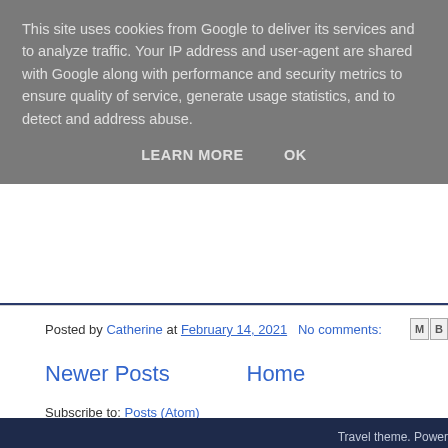This site uses cookies from Google to deliver its services and to analyze traffic. Your IP address and user-agent are shared with Google along with performance and security metrics to ensure quality of service, generate usage statistics, and to detect and address abuse.
LEARN MORE    OK
Posted by Catherine at February 14, 2021   No comments:
Newer Posts
Home
Subscribe to: Posts (Atom)
Travel theme. Power